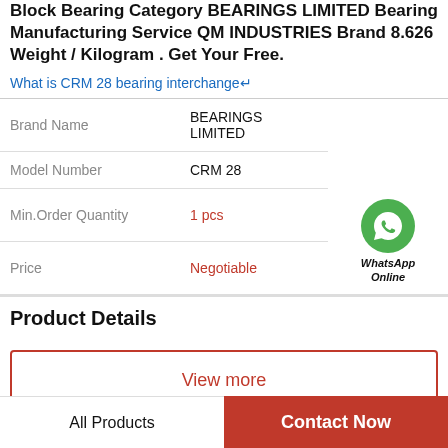Block Bearing Category BEARINGS LIMITED Bearing Manufacturing Service QM INDUSTRIES Brand 8.626 Weight / Kilogram . Get Your Free.
What is CRM 28 bearing interchange↵
| Field | Value |
| --- | --- |
| Brand Name | BEARINGS LIMITED |
| Model Number | CRM 28 |
| Min.Order Quantity | 1 pcs |
| Price | Negotiable |
Product Details
View more
All Products   Contact Now